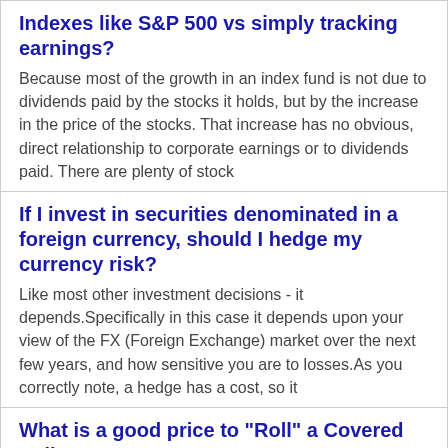Indexes like S&P 500 vs simply tracking earnings?
Because most of the growth in an index fund is not due to dividends paid by the stocks it holds, but by the increase in the price of the stocks. That increase has no obvious, direct relationship to corporate earnings or to dividends paid. There are plenty of stock
If I invest in securities denominated in a foreign currency, should I hedge my currency risk?
Like most other investment decisions - it depends.Specifically in this case it depends upon your view of the FX (Foreign Exchange) market over the next few years, and how sensitive you are to losses.As you correctly note, a hedge has a cost, so it
What is a good price to "Roll" a Covered Call?
There is no reason to roll an option if the current market value is lower than the strike sold. Out-of-the-money strikes (as is the $12 strike) are all time value which is decaying constantly